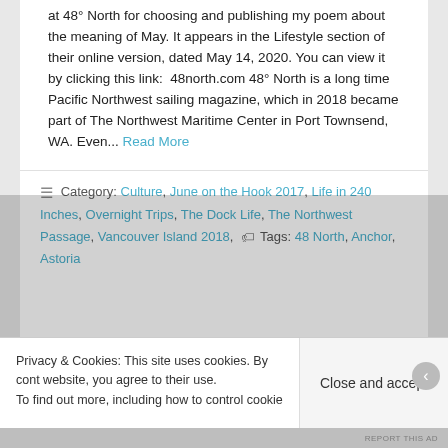at 48° North for choosing and publishing my poem about the meaning of May. It appears in the Lifestyle section of their online version, dated May 14, 2020. You can view it by clicking this link:  48north.com 48° North is a long time Pacific Northwest sailing magazine, which in 2018 became part of The Northwest Maritime Center in Port Townsend, WA. Even... Read More
≡ Category: Culture, June on the Hook 2017, Life in 240 Inches, Overnight Trips, The Dock Life, The Northwest Passage, Vancouver Island 2018,  🏷 Tags: 48 North, Anchor, Astoria
Privacy & Cookies: This site uses cookies. By continuing to use this website, you agree to their use.
To find out more, including how to control cookies,
Close and accept